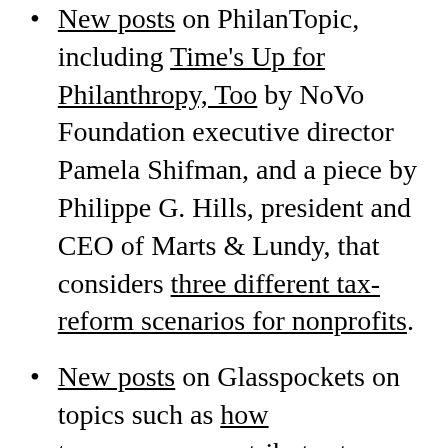New posts on PhilanTopic, including Time's Up for Philanthropy, Too by NoVo Foundation executive director Pamela Shifman, and a piece by Philippe G. Hills, president and CEO of Marts & Lundy, that considers three different tax-reform scenarios for nonprofits.
New posts on Glasspockets on topics such as how transparency contributes to better relationships in the sector and how the Macarthur Foundation is #OpenForGood.
New posts on GrantSpace, including info on ebooks now available from Foundation Center